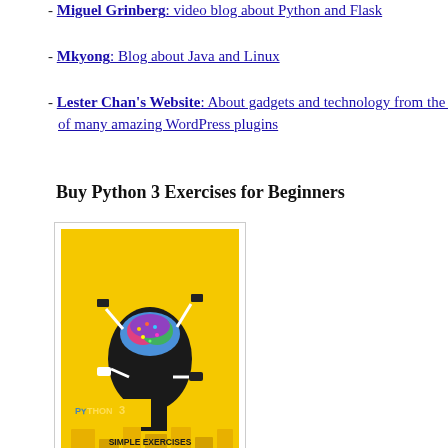- Miguel Grinberg: video blog about Python and Flask
- Mkyong: Blog about Java and Linux
- Lester Chan's Website: About gadgets and technology from the author of many amazing WordPress plugins
Buy Python 3 Exercises for Beginners
[Figure (photo): Book cover of 'Python 3 Simple Exercises for Beginners' by Carlos Mero and Albert Ballart, featuring a yellow background with a silhouette of a human head with a colorful brain and various electrical plugs and cables, with the Python 3 logo at the bottom.]